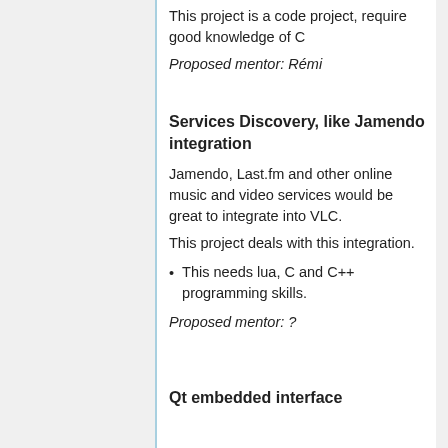This project is a code project, require good knowledge of C
Proposed mentor: Rémi
Services Discovery, like Jamendo integration
Jamendo, Last.fm and other online music and video services would be great to integrate into VLC.
This project deals with this integration.
This needs lua, C and C++ programming skills.
Proposed mentor: ?
Qt embedded interface